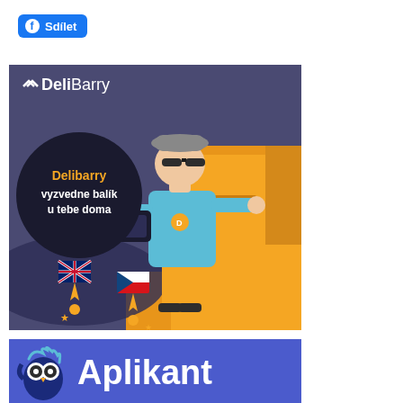[Figure (screenshot): Facebook share button with 'f' logo and 'Sdílet' text on blue background]
[Figure (illustration): DeliBarry advertisement banner. Dark purple background with a cartoon courier in blue outfit and sunglasses holding a package next to stacked orange boxes. Black circle with text in Czech: 'Delibarry vyzvedne balík u tebe doma' (Delibarry will pick up a package at your home). UK flag and Czech flag pin icons at the bottom left. DeliBarry logo at the top left.]
[Figure (logo): Aplikant banner with blue background, owl mascot logo on the left and large white 'Aplikant' text. Partial bottom text visible.]